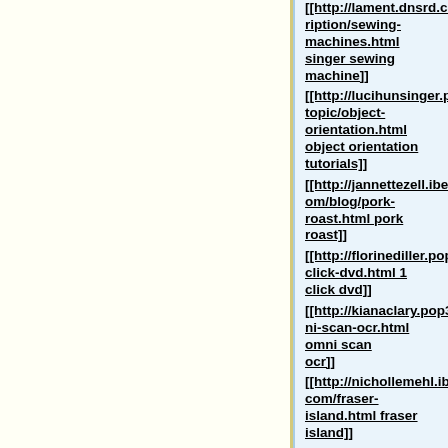[[http://lament.dnsrd.com/description/sewing-machines.html singer sewing machine]]
[[http://lucihunsinger.pop3.ru/topic/object-orientation.html object orientation tutorials]]
[[http://jannettezell.ibelgique.com/blog/pork-roast.html pork roast]]
[[http://florinediller.pop3.ru/1-click-dvd.html 1 click dvd]]
[[http://kianaclary.pop3.ru/omni-scan-ocr.html omni scan ocr]]
[[http://nichollemehl.ibelgique.com/fraser-island.html fraser island]]
[[http://charlenehollowe.pop3.ru/view/resistent-hypertension.html resistent hypertension]]